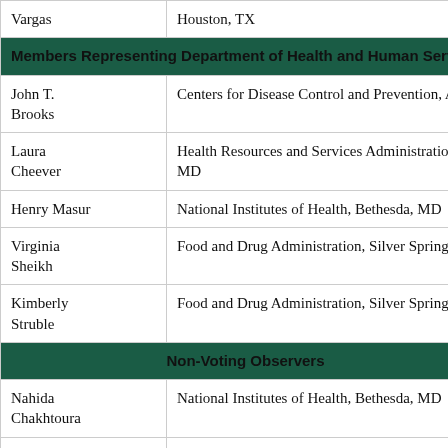| Name | Affiliation |
| --- | --- |
| Vargas | Houston, TX |
| Members Representing Department of Health and Human Services |  |
| John T. Brooks | Centers for Disease Control and Prevention, A... |
| Laura Cheever | Health Resources and Services Administration, MD |
| Henry Masur | National Institutes of Health, Bethesda, MD |
| Virginia Sheikh | Food and Drug Administration, Silver Spring, M... |
| Kimberly Struble | Food and Drug Administration, Silver Spring, M... |
| Non-Voting Observers |  |
| Nahida Chakhtoura | National Institutes of Health, Bethesda, MD |
| Rohan Hazra | National Institutes of Health, Bethesda, MD |
| ... | Food and Drug Administration, Silver Spring, ... |